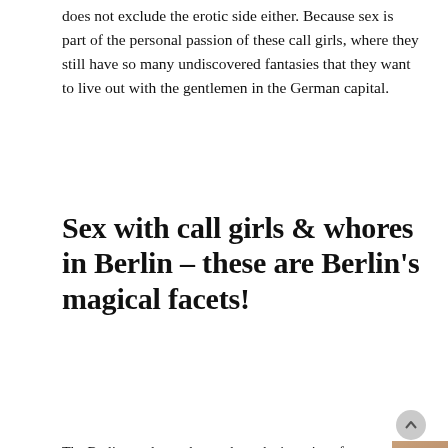does not exclude the erotic side either. Because sex is part of the personal passion of these call girls, where they still have so many undiscovered fantasies that they want to live out with the gentlemen in the German capital.
Sex with call girls & whores in Berlin – these are Berlin's magical facets!
The Berlin gentlemen know about the ingenious favor of having erotic sex Call girls & whores in Berlin that are available here, have long since been informed. But occasional travelers and business
[Figure (photo): Grid of escort/call girl profile images with captions on salmon/peach background, 2 rows of 4 columns of women's photos with German text captions below each]